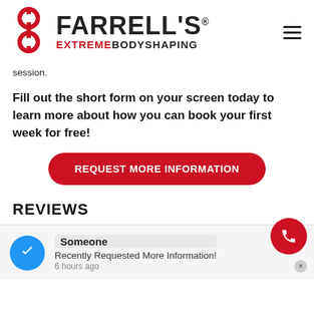FARRELL'S EXTREME BODYSHAPING
session.
Fill out the short form on your screen today to learn more about how you can book your first week for free!
REQUEST MORE INFORMATION
REVIEWS
Someone
Recently Requested More Information!
6 hours ago